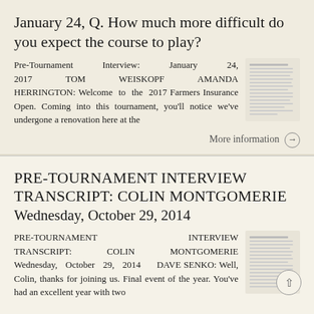January 24, Q. How much more difficult do you expect the course to play?
Pre-Tournament Interview: January 24, 2017 TOM WEISKOPF AMANDA HERRINGTON: Welcome to the 2017 Farmers Insurance Open. Coming into this tournament, you'll notice we've undergone a renovation here at the
More information →
PRE-TOURNAMENT INTERVIEW TRANSCRIPT: COLIN MONTGOMERIE Wednesday, October 29, 2014
PRE-TOURNAMENT INTERVIEW TRANSCRIPT: COLIN MONTGOMERIE Wednesday, October 29, 2014 DAVE SENKO: Well, Colin, thanks for joining us. Final event of the year. You've had an excellent year with two